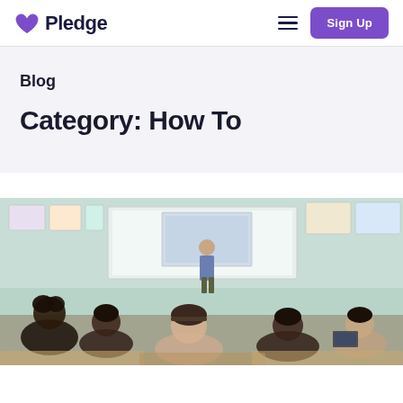Pledge — Sign Up
Blog
Category: How To
[Figure (photo): A classroom scene with a teacher standing at the front near a whiteboard, and students seated at desks with their backs to the camera, in a colorful elementary or middle school classroom.]